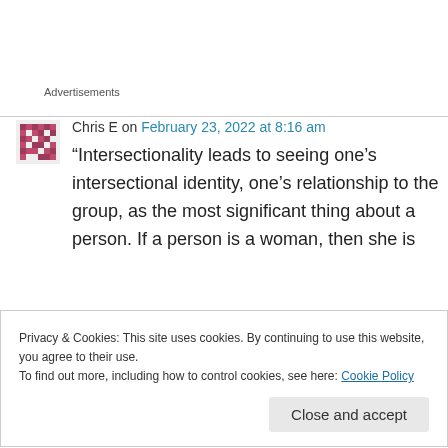Advertisements
Chris E on February 23, 2022 at 8:16 am
“Intersectionality leads to seeing one’s intersectional identity, one’s relationship to the group, as the most significant thing about a person. If a person is a woman, then she is
Privacy & Cookies: This site uses cookies. By continuing to use this website, you agree to their use.
To find out more, including how to control cookies, see here: Cookie Policy
Close and accept